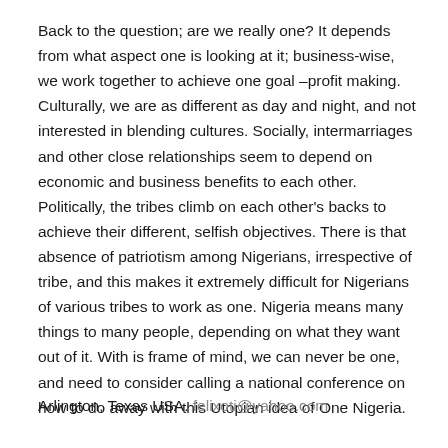Back to the question; are we really one? It depends from what aspect one is looking at it; business-wise, we work together to achieve one goal –profit making. Culturally, we are as different as day and night, and not interested in blending cultures. Socially, intermarriages and other close relationships seem to depend on economic and business benefits to each other. Politically, the tribes climb on each other's backs to achieve their different, selfish objectives. There is that absence of patriotism among Nigerians, irrespective of tribe, and this makes it extremely difficult for Nigerians of various tribes to work as one. Nigeria means many things to many people, depending on what they want out of it. With is frame of mind, we can never be one, and need to consider calling a national conference on how to do away with this Utopian idea of One Nigeria.
Arlington, Texas USA. felixoti@yahoo.com